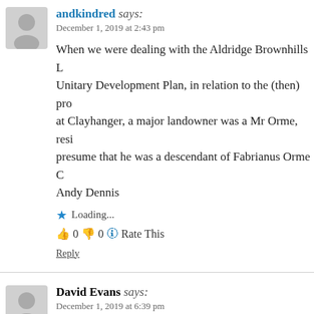andkindred says:
December 1, 2019 at 2:43 pm
When we were dealing with the Aldridge Brownhills L Unitary Development Plan, in relation to the (then) pro at Clayhanger, a major landowner was a Mr Orme, resi presume that he was a descendant of Fabrianus Orme C Andy Dennis
Loading...
👍 0 👎 0 ℹ Rate This
Reply
David Evans says:
December 1, 2019 at 6:39 pm
Hi Bob
very many thanks for postng this extensve article..and f